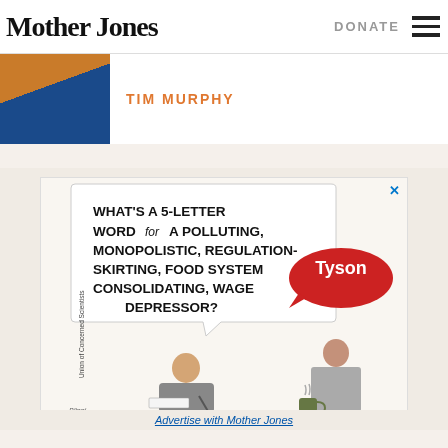Mother Jones | DONATE
TIM MURPHY
[Figure (illustration): Advertisement cartoon: A man doing a crossword puzzle asks 'What's a 5-letter word for a polluting, monopolistic, regulation-skirting, food system consolidating, wage depressor?' with a Tyson logo speech bubble, answered by a woman holding a coffee mug. Union of Concerned Scientists branding visible.]
Advertise with Mother Jones